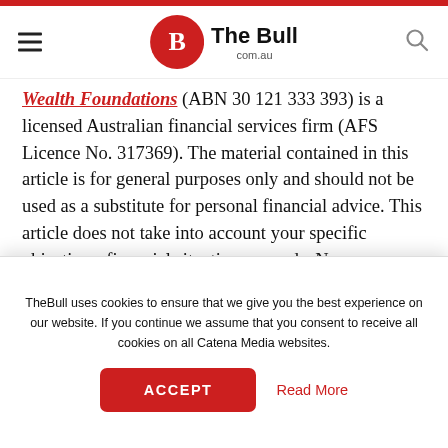The Bull com.au
Wealth Foundations (ABN 30 121 333 393) is a licensed Australian financial services firm (AFS Licence No. 317369). The material contained in this article is for general purposes only and should not be used as a substitute for personal financial advice. This article does not take into account your specific objectives, financial situation or needs. No person should act or refrain from acting solely on the basis of this material. Before making a financial planning or investment decision, you should consider if it is appropriate for your circumstances. You should read and understand any relevant Product Disclosure Statements
TheBull uses cookies to ensure that we give you the best experience on our website. If you continue we assume that you consent to receive all cookies on all Catena Media websites.